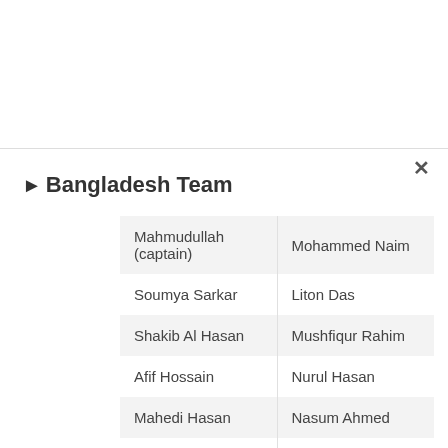► Bangladesh Team
| Mahmudullah (captain) | Mohammed Naim |
| Soumya Sarkar | Liton Das |
| Shakib Al Hasan | Mushfiqur Rahim |
| Afif Hossain | Nurul Hasan |
| Mahedi Hasan | Nasum Ahmed |
| Mustafizur Rahman | Shoriful Islam |
| Taskin Ahmed | Mohammad Saifuddin |